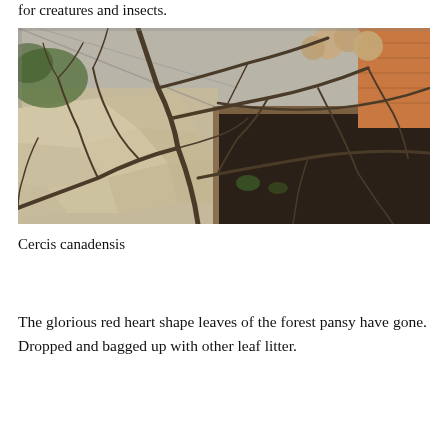for creatures and insects.
[Figure (photo): A garden scene showing bare, twisting branches of a tree (Cercis canadensis / forest pansy) spread across a paved stone patio area. In the background are raised beds with dark soil, dried hydrangea seed heads, fencing, and a brick wall. The scene appears to be in late autumn or winter with no leaves on the tree.]
Cercis canadensis
The glorious red heart shape leaves of the forest pansy have gone. Dropped and bagged up with other leaf litter.